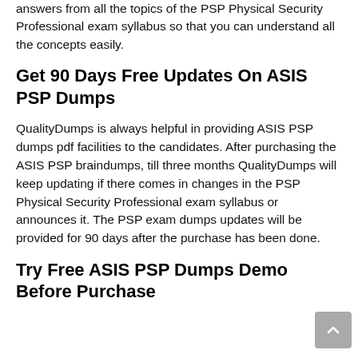answers from all the topics of the PSP Physical Security Professional exam syllabus so that you can understand all the concepts easily.
Get 90 Days Free Updates On ASIS PSP Dumps
QualityDumps is always helpful in providing ASIS PSP dumps pdf facilities to the candidates. After purchasing the ASIS PSP braindumps, till three months QualityDumps will keep updating if there comes in changes in the PSP Physical Security Professional exam syllabus or announces it. The PSP exam dumps updates will be provided for 90 days after the purchase has been done.
Try Free ASIS PSP Dumps Demo Before Purchase